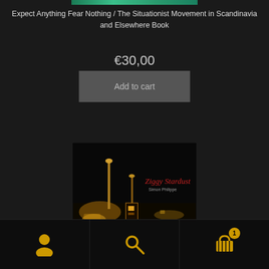[Figure (photo): Partial top edge of a book cover image with green/teal colors]
Expect Anything Fear Nothing / The Situationist Movement in Scandinavia and Elsewhere Book
€30,00
Add to cart
[Figure (photo): Book cover for Ziggy Stardust by Simon Phlippe - dark night scene with street lights and a booth]
Navigation footer with user icon, search icon, and cart icon with badge showing 1